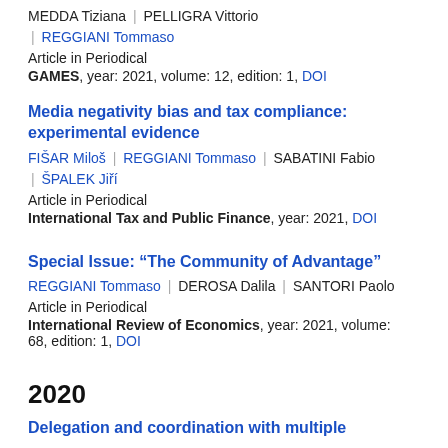MEDDA Tiziana | PELLIGRA Vittorio | REGGIANI Tommaso
Article in Periodical
GAMES, year: 2021, volume: 12, edition: 1, DOI
Media negativity bias and tax compliance: experimental evidence
FIŠAR Miloš | REGGIANI Tommaso | SABATINI Fabio | ŠPALEK Jiří
Article in Periodical
International Tax and Public Finance, year: 2021, DOI
Special Issue: “The Community of Advantage”
REGGIANI Tommaso | DEROSA Dalila | SANTORI Paolo
Article in Periodical
International Review of Economics, year: 2021, volume: 68, edition: 1, DOI
2020
Delegation and coordination with multiple